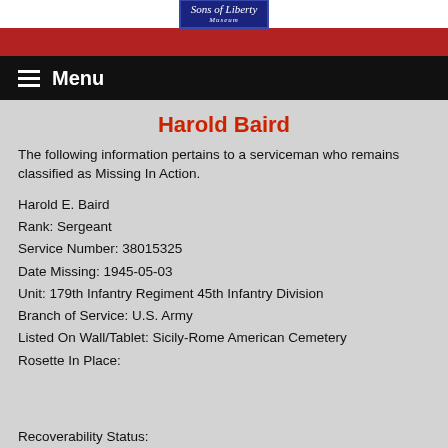[Figure (logo): Sons of Liberty Museum logo — blue rectangle with italic white script text 'Sons of Liberty' and 'Museum' below, set on a white header bar above a red bar]
Menu
Harold Baird
The following information pertains to a serviceman who remains classified as Missing In Action.
Harold E. Baird
Rank: Sergeant
Service Number: 38015325
Date Missing: 1945-05-03
Unit: 179th Infantry Regiment 45th Infantry Division
Branch of Service: U.S. Army
Listed On Wall/Tablet: Sicily-Rome American Cemetery
Rosette In Place:
Recoverability Status: